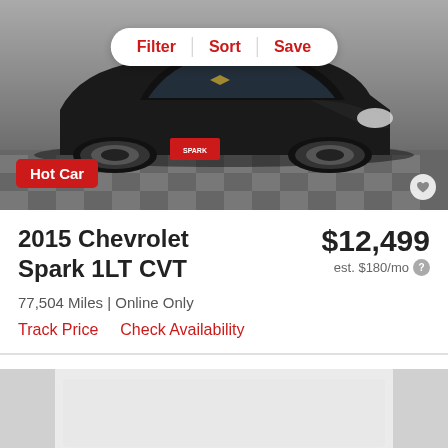[Figure (photo): Black 2015 Chevrolet Spark 1LT CVT photographed from a front 3/4 angle on a checkered floor showroom. A red dealer badge is visible on the front plate area. Filter/Sort/Save navigation bar overlays the top of the image.]
Filter  Sort  Save
2015 Chevrolet Spark 1LT CVT
$12,499
est. $180/mo
77,504 Miles | Online Only
Track Price
Check Availability
[Figure (photo): Partial view of next vehicle listing card below]